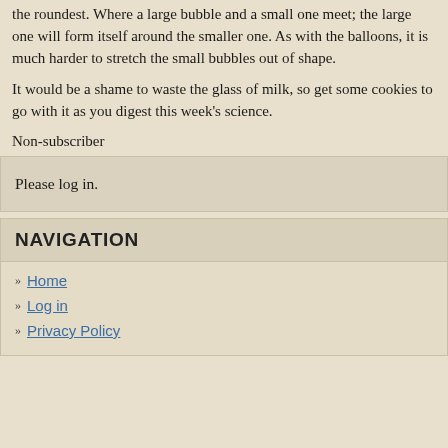the roundest. Where a large bubble and a small one meet; the large one will form itself around the smaller one. As with the balloons, it is much harder to stretch the small bubbles out of shape.
It would be a shame to waste the glass of milk, so get some cookies to go with it as you digest this week's science.
Non-subscriber
Please log in.
NAVIGATION
Home
Log in
Privacy Policy